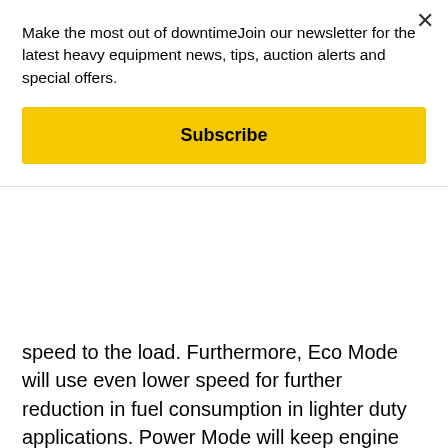Make the most out of downtimeJoin our newsletter for the latest heavy equipment news, tips, auction alerts and special offers.
Subscribe
speed to the load. Furthermore, Eco Mode will use even lower speed for further reduction in fuel consumption in lighter duty applications. Power Mode will keep engine speed high to deliver readily available power at all times.